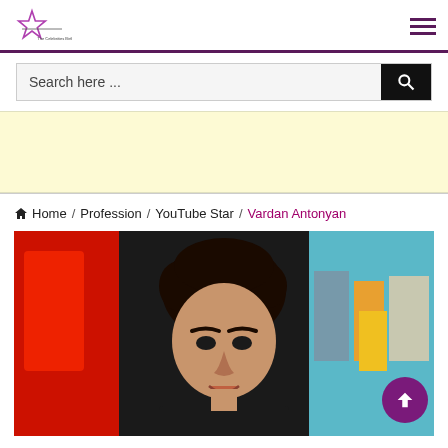The Celebrities Birthday — navigation header with logo and hamburger menu
Search here ...
[Figure (photo): Yellow advertising banner placeholder]
Home / Profession / YouTube Star / Vardan Antonyan
[Figure (photo): Photo of Vardan Antonyan, a young man with dark curly hair, in front of a colorful mural with red, blue, green, and yellow painted figures]